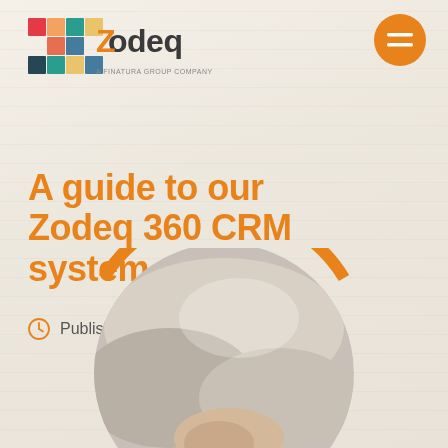[Figure (logo): Zodeq logo — colorful mosaic Z with 'Zodeq' text and 'A Finatura Group Company' tagline]
[Figure (other): Orange circle with hamburger/equals menu icon in white]
A guide to our Zodeq 360 CRM system
Published: 8th January 2019
[Figure (photo): Circular cropped photo of a person's hand/wrist area against a blurred background, with orange arc border at top]